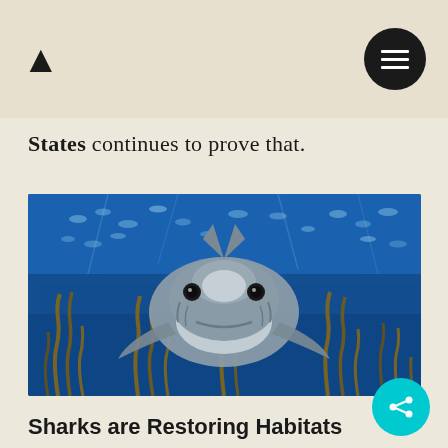A (logo) | menu button
States continues to prove that.
[Figure (photo): Underwater photograph of a large shark (tiger or bull shark) facing the camera directly, surrounded by blue water and kelp/seagrass, with a school of smaller fish visible in the background.]
Sharks are Restoring Habitats
In 2011, a heatwave along Australia's